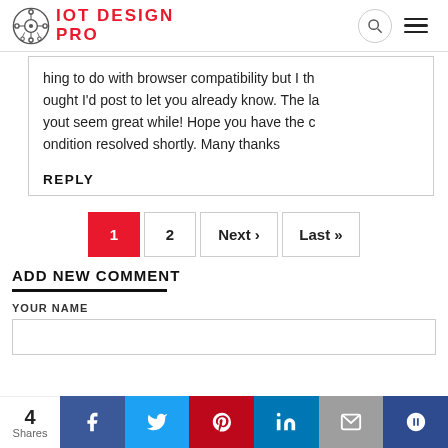IOT DESIGN PRO
hing to do with browser compatibility but I thought I'd post to let you already know. The layout seem great while! Hope you have the condition resolved shortly. Many thanks
REPLY
1 2 Next › Last »
ADD NEW COMMENT
YOUR NAME